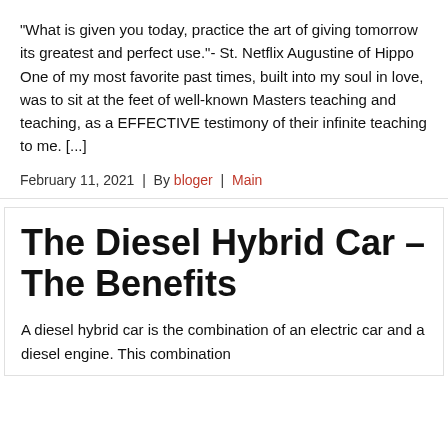“What is given you today, practice the art of giving tomorrow its greatest and perfect use.”- St. Netflix Augustine of Hippo One of my most favorite past times, built into my soul in love, was to sit at the feet of well-known Masters teaching and teaching, as a EFFECTIVE testimony of their infinite teaching to me. [...]
February 11, 2021  |  By bloger  |  Main
The Diesel Hybrid Car – The Benefits
A diesel hybrid car is the combination of an electric car and a diesel engine. This combination